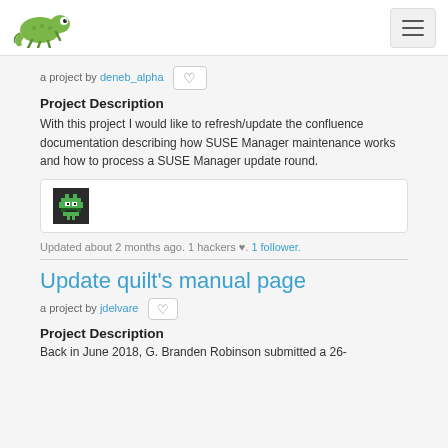SUSE Hack Week - Navigation bar with chameleon logo and hamburger menu
a project by deneb_alpha
Project Description
With this project I would like to refresh/update the confluence documentation describing how SUSE Manager maintenance works and how to process a SUSE Manager update round.
[Figure (screenshot): Pixel art avatar icon of a green alien/character on dark background]
Updated about 2 months ago. 1 hackers ♥. 1 follower.
Update quilt's manual page
a project by jdelvare
Project Description
Back in June 2018, G. Branden Robinson submitted a 26-